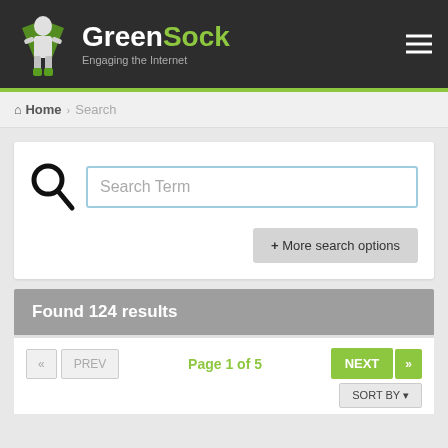GreenSock Engaging the Internet
Home > Search
Search Term
+ More search options
Found 124 results
« PREV  Page 1 of 5  NEXT »  SORT BY ▾